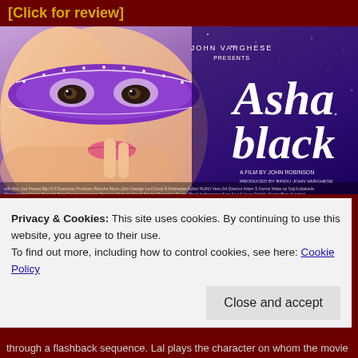[Click for review]
[Figure (photo): Movie poster for 'Asha Black' directed by John Robinson, presented by John Varghese. Shows a woman wearing a purple masquerade mask with white rhinestone details. Right side shows the title 'Asha Black' in large white text with 'John Varghese Presents' above it and 'A film by John Robinson, Produced by Bindu John Varghese' below it. Purple/blue starry background.]
[Figure (infographic): Red advertisement banner with text: 'The best stories on the web — ours, and everyone else's.' with a white border outline]
REPORT THIS AD
Privacy & Cookies: This site uses cookies. By continuing to use this website, you agree to their use.
To find out more, including how to control cookies, see here: Cookie Policy
through a flashback sequence. Lal plays the character on whom the movie